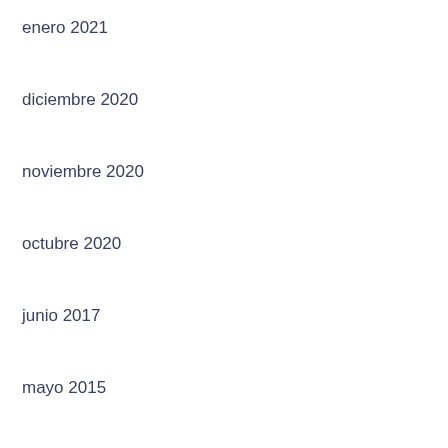enero 2021
diciembre 2020
noviembre 2020
octubre 2020
junio 2017
mayo 2015
octubre 2014
Categorías
adult dating
adultchatdatingsites.com – free adult chat
best asian dating sites
Best International Dating Sites
blog